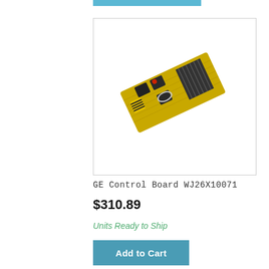[Figure (photo): Photo of a GE Control Board WJ26X10071 — a rectangular PCB (printed circuit board) with yellow substrate, multiple black relay components, a heat sink with fins, yellow-black transformer, and a wire loop, shown at an angle on a white background.]
GE Control Board WJ26X10071
$310.89
Units Ready to Ship
Add to Cart